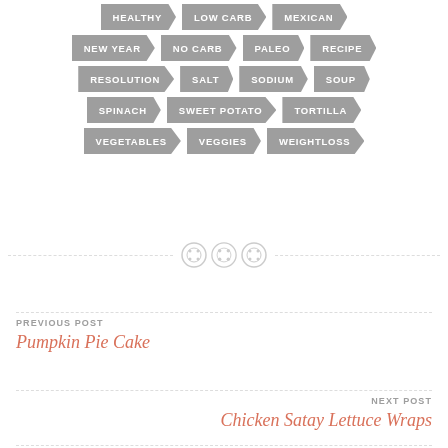HEALTHY, LOW CARB, MEXICAN, NEW YEAR, NO CARB, PALEO, RECIPE, RESOLUTION, SALT, SODIUM, SOUP, SPINACH, SWEET POTATO, TORTILLA, VEGETABLES, VEGGIES, WEIGHTLOSS
[Figure (illustration): Three decorative button icons used as a divider between sections]
PREVIOUS POST
Pumpkin Pie Cake
NEXT POST
Chicken Satay Lettuce Wraps